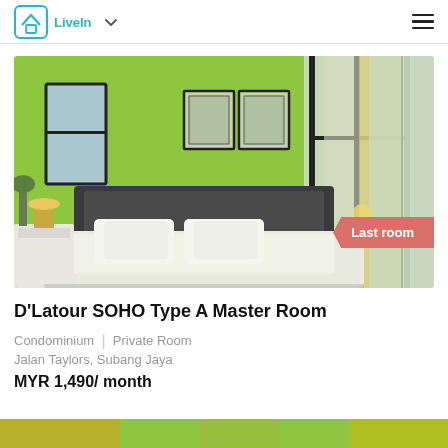LiveIn
[Figure (photo): Interior photo of a furnished master bedroom with green accent wall, dark headboard, white bedding, and large floor-to-ceiling windows with yellow curtains. A 'Last room' badge overlay is shown in the bottom-right area.]
D'Latour SOHO Type A Master Room
Condominium | Private Room
Jalan Taylors, Subang Jaya
MYR 1,490/ month
[Figure (photo): Partial view of another room listing image at the bottom of the page, showing green and yellow tones.]